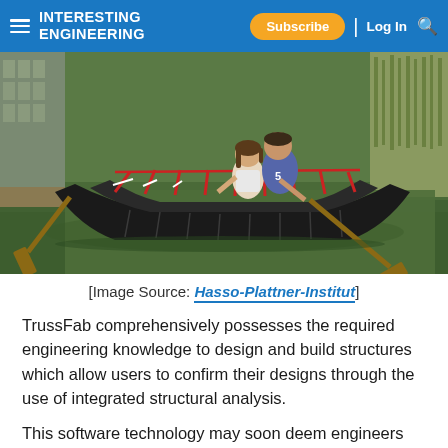INTERESTING ENGINEERING | Subscribe | Log In
[Figure (photo): Two people riding in a large black boat made of fabric/tarp material on a green canal or pond, holding paddles/oars. The boat has a truss-like internal structure visible with red and white elements.]
[Image Source: Hasso-Plattner-Institut]
TrussFab comprehensively possesses the required engineering knowledge to design and build structures which allow users to confirm their designs through the use of integrated structural analysis.
This software technology may soon deem engineers